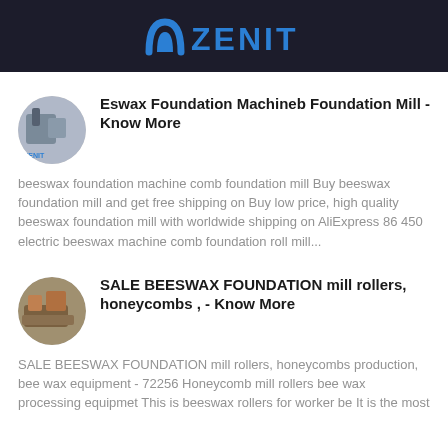ZENIT
Eswax Foundation Machineb Foundation Mill - Know More
beeswax foundation machine comb foundation mill Buy beeswax foundation mill and get free shipping on Buy low price, high quality beeswax foundation mill with worldwide shipping on AliExpress 86 450 electric beeswax machine comb foundation roll mill...
SALE BEESWAX FOUNDATION mill rollers, honeycombs , - Know More
SALE BEESWAX FOUNDATION mill rollers, honeycombs production, bee wax equipment - 72256 Honeycomb mill rollers bee wax processing equipmet This is beeswax rollers for worker be It is the most